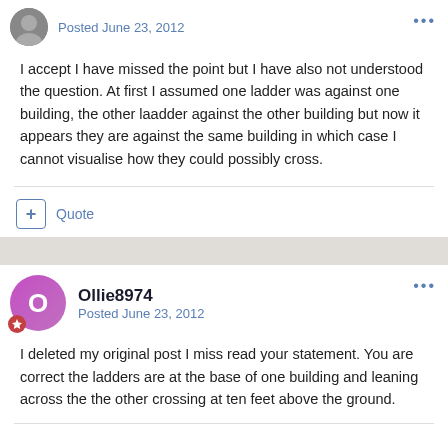Posted June 23, 2012
I accept I have missed the point but I have also not understood the question. At first I assumed one ladder was against one building, the other laadder against the other building but now it appears they are against the same building in which case I cannot visualise how they could possibly cross.
+ Quote
Ollie8974
Posted June 23, 2012
I deleted my original post I miss read your statement. You are correct the ladders are at the base of one building and leaning across the the other crossing at ten feet above the ground.